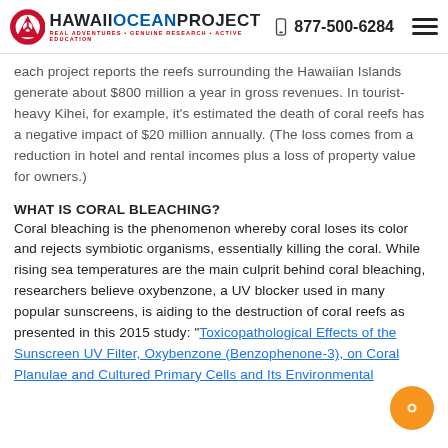HAWAII OCEAN PROJECT | 877-500-6284
each project reports the reefs surrounding the Hawaiian Islands generate about $800 million a year in gross revenues. In tourist-heavy Kihei, for example, it's estimated the death of coral reefs has a negative impact of $20 million annually. (The loss comes from a reduction in hotel and rental incomes plus a loss of property value for owners.)
WHAT IS CORAL BLEACHING?
Coral bleaching is the phenomenon whereby coral loses its color and rejects symbiotic organisms, essentially killing the coral. While rising sea temperatures are the main culprit behind coral bleaching, researchers believe oxybenzone, a UV blocker used in many popular sunscreens, is aiding to the destruction of coral reefs as presented in this 2015 study: "Toxicopathological Effects of the Sunscreen UV Filter, Oxybenzone (Benzophenone-3), on Coral Planulae and Cultured Primary Cells and Its Environmental..."